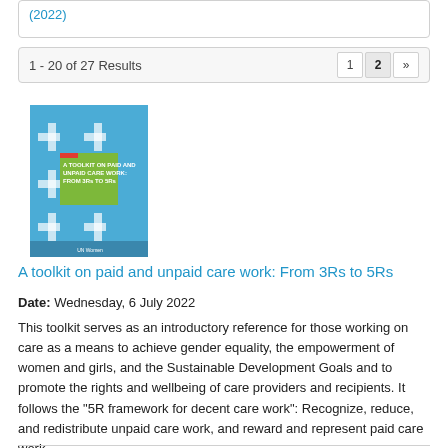(2022)
1 - 20 of 27 Results
[Figure (illustration): Book cover of 'A toolkit on paid and unpaid care work: From 3Rs to 5Rs' — blue and green design with cross/plus pattern]
A toolkit on paid and unpaid care work: From 3Rs to 5Rs
Date: Wednesday, 6 July 2022
This toolkit serves as an introductory reference for those working on care as a means to achieve gender equality, the empowerment of women and girls, and the Sustainable Development Goals and to promote the rights and wellbeing of care providers and recipients. It follows the "5R framework for decent care work": Recognize, reduce, and redistribute unpaid care work, and reward and represent paid care work.